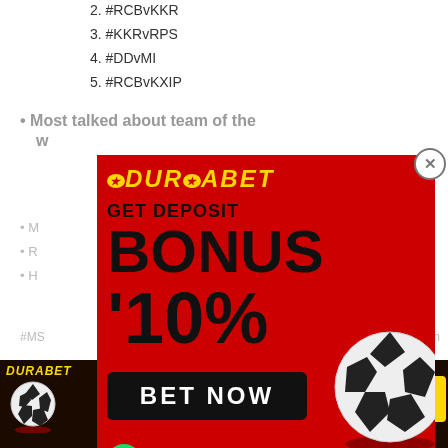2. #RCBvKKR
3. #KKRvRPS
4. #DDvMI
5. #RCBvKXIP
Most talked about team of the week
M...
R...
H...
#MS... 5 in
[Figure (infographic): DURABET advertisement popup: GET DEPOSIT BONUS 10%, BET NOW button, WhatsApp +91 8976362013, soccer ball graphic]
[Figure (infographic): DURABET bottom banner ad: GET DEPOSIT BONUS 10%, BET NOW button, www.durabet.com, +91 8976362013]